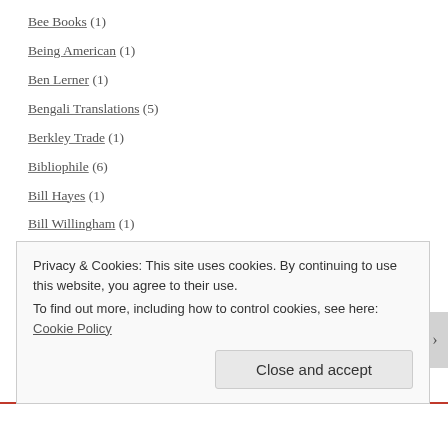Bee Books (1)
Being American (1)
Ben Lerner (1)
Bengali Translations (5)
Berkley Trade (1)
Bibliophile (6)
Bill Hayes (1)
Bill Willingham (1)
Biographical Reads (2)
Biographies (12)
Biographies and History Graphic Novels (1)
biography (22)
Bitter Fruit (1)
Privacy & Cookies: This site uses cookies. By continuing to use this website, you agree to their use. To find out more, including how to control cookies, see here: Cookie Policy
Close and accept